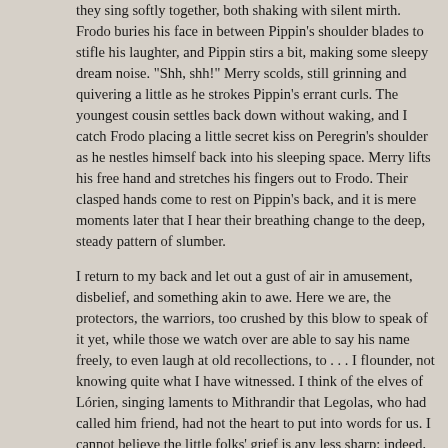they sing softly together, both shaking with silent mirth. Frodo buries his face in between Pippin's shoulder blades to stifle his laughter, and Pippin stirs a bit, making some sleepy dream noise. "Shh, shh!" Merry scolds, still grinning and quivering a little as he strokes Pippin's errant curls. The youngest cousin settles back down without waking, and I catch Frodo placing a little secret kiss on Peregrin's shoulder as he nestles himself back into his sleeping space. Merry lifts his free hand and stretches his fingers out to Frodo. Their clasped hands come to rest on Pippin's back, and it is mere moments later that I hear their breathing change to the deep, steady pattern of slumber.
I return to my back and let out a gust of air in amusement, disbelief, and something akin to awe. Here we are, the protectors, the warriors, too crushed by this blow to speak of it yet, while those we watch over are able to say his name freely, to even laugh at old recollections, to . . . I flounder, not knowing quite what I have witnessed. I think of the elves of Lórien, singing laments to Mithrandir that Legolas, who had called him friend, had not the heart to put into words for us. I cannot believe the little folks' grief is any less sharp; indeed, having seen Gandalf with them, how he guided and taught and nudged each of them daily in the most familiar way, nearly as a beloved uncle or grandfather, I know that their grief must surpass all of us in the Fellowship, save perhaps Aragorn.
Yet they are able to speak of him so soon, so fondly, with such pleasure, even tinged as it is by the shadow flickering at the edges of their eyes. This was no lament for Gandalf's death, this was, this was . . . this was a song celebrating Gandalf's life that I had eavesdropped on...